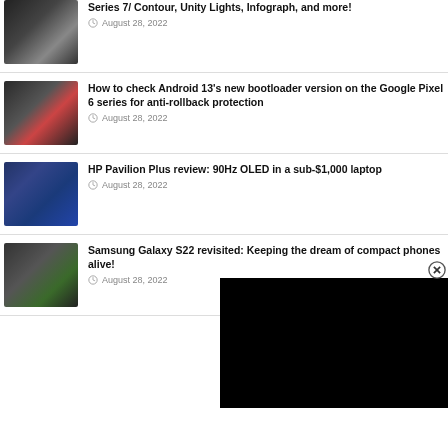Series 7/ Contour, Unity Lights, Infograph, and more! — August 28, 2022
How to check Android 13's new bootloader version on the Google Pixel 6 series for anti-rollback protection — August 28, 2022
HP Pavilion Plus review: 90Hz OLED in a sub-$1,000 laptop — August 28, 2022
Samsung Galaxy S22 revisited: Keeping the dream of compact phones alive! — August 28, 2022
[Figure (screenshot): Black video player overlay with close (X) button in top-right corner]